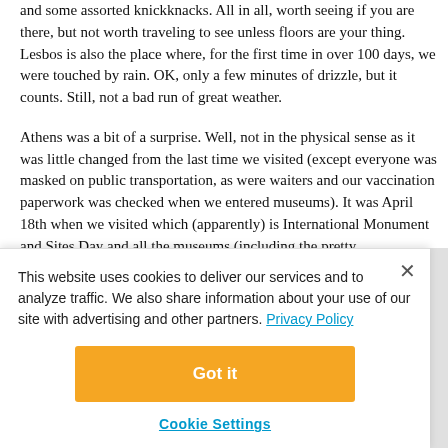and some assorted knickknacks. All in all, worth seeing if you are there, but not worth traveling to see unless floors are your thing. Lesbos is also the place where, for the first time in over 100 days, we were touched by rain. OK, only a few minutes of drizzle, but it counts. Still, not a bad run of great weather.
Athens was a bit of a surprise. Well, not in the physical sense as it was little changed from the last time we visited (except everyone was masked on public transportation, as were waiters and our vaccination paperwork was checked when we entered museums). It was April 18th when we visited which (apparently) is International Monument and Sites Day and all the museums (including the pretty
This website uses cookies to deliver our services and to analyze traffic. We also share information about your use of our site with advertising and other partners. Privacy Policy
Got it
Cookie Settings